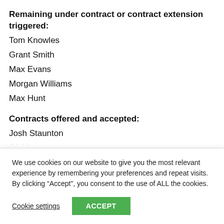Remaining under contract or contract extension triggered:
Tom Knowles
Grant Smith
Max Evans
Morgan Williams
Max Hunt
Contracts offered and accepted:
Josh Staunton
We use cookies on our website to give you the most relevant experience by remembering your preferences and repeat visits. By clicking “Accept”, you consent to the use of ALL the cookies.
Cookie settings  ACCEPT